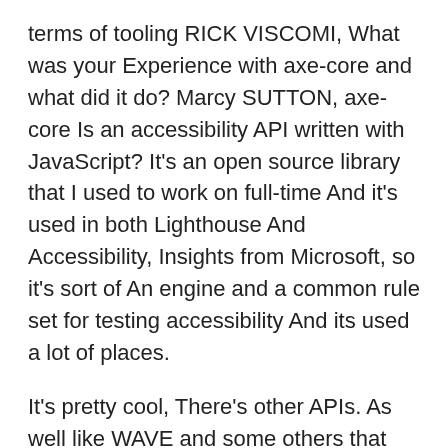terms of tooling RICK VISCOMI, What was your Experience with axe-core and what did it do? Marcy SUTTON, axe-core Is an accessibility API written with JavaScript? It's an open source library that I used to work on full-time And it's used in both Lighthouse And Accessibility, Insights from Microsoft, so it's sort of An engine and a common rule set for testing accessibility And its used a lot of places.
It's pretty cool, There's other APIs. As well like WAVE and some others that aren't Coming to mind at the moment, but it's nice to have a common Set of rules and the engine that people can Count on and they can use it in different ways: Such as in browser extensions and in automated tooling To use a common rule set so that some Testers on your team aren't using a different set. Of rules than the